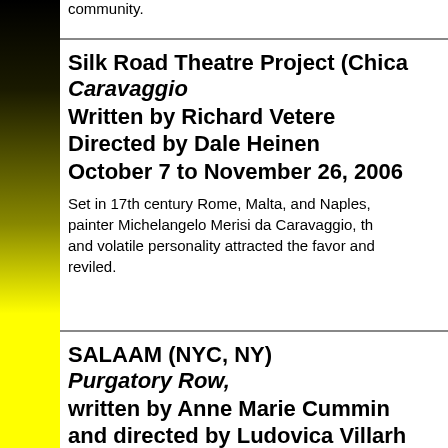community.
Silk Road Theatre Project (Chica
Caravaggio
Written by Richard Vetere
Directed by Dale Heinen
October 7 to November 26, 2006
Set in 17th century Rome, Malta, and Naples, painter Michelangelo Merisi da Caravaggio, the and volatile personality attracted the favor and reviled.
SALAAM (NYC, NY)
Purgatory Row,
written by Anne Marie Cummin
and directed by Ludovica Villarh
Monday, November 20th at 7PM